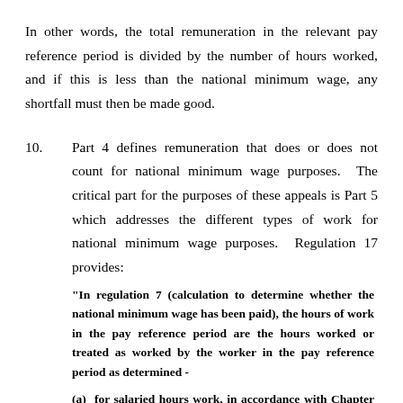In other words, the total remuneration in the relevant pay reference period is divided by the number of hours worked, and if this is less than the national minimum wage, any shortfall must then be made good.
10.   Part 4 defines remuneration that does or does not count for national minimum wage purposes.  The critical part for the purposes of these appeals is Part 5 which addresses the different types of work for national minimum wage purposes.  Regulation 17 provides:
"In regulation 7 (calculation to determine whether the national minimum wage has been paid), the hours of work in the pay reference period are the hours worked or treated as worked by the worker in the pay reference period as determined -
(a)  for salaried hours work, in accordance with Chapter 2;